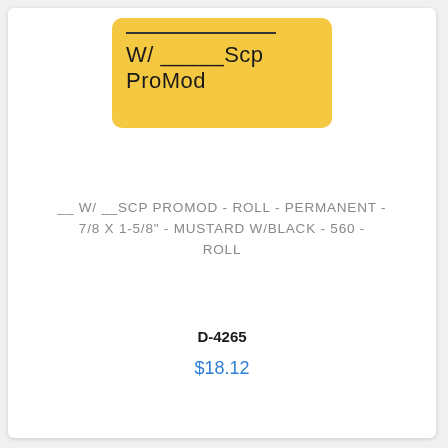[Figure (illustration): A mustard/yellow rounded rectangle label with a blank fill-in line at the top and the text 'W/ _____Scp ProMod' below it in dark font on yellow background.]
__ W/ __SCP PROMOD - ROLL - PERMANENT - 7/8 X 1-5/8" - MUSTARD W/BLACK - 560 - ROLL
D-4265
$18.12